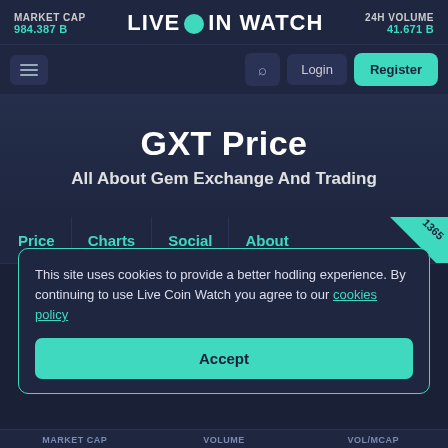MARKET CAP 984.387 B | LIVE COIN WATCH | 24H VOLUME 41.671 B
[Figure (screenshot): Navigation bar with menu, search, login, and register buttons]
GXT Price
All About Gem Exchange And Trading
Price | Charts | Social | About
This site uses cookies to provide a better hodling experience. By continuing to use Live Coin Watch you agree to our cookies policy
Accept
MARKET CAP | VOLUME | VOL/MCAP